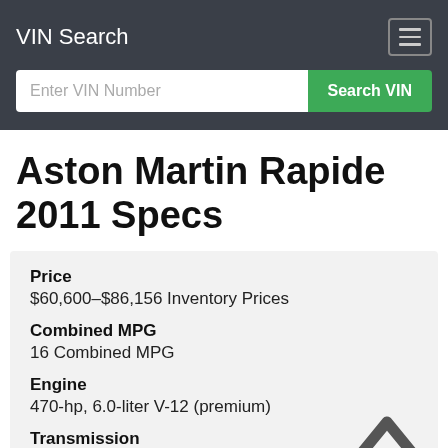VIN Search
Enter VIN Number
Aston Martin Rapide 2011 Specs
Price
$60,600–$86,156 Inventory Prices
Combined MPG
16 Combined MPG
Engine
470-hp, 6.0-liter V-12 (premium)
Transmission
6-speed automatic w/OD and auto manual